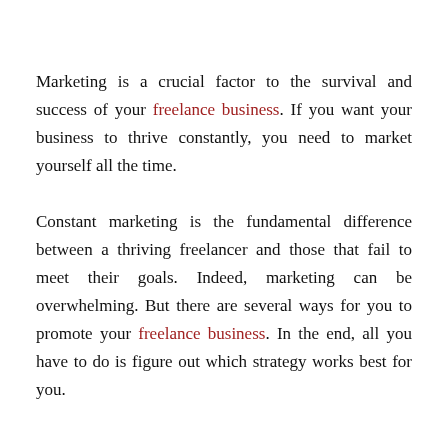Marketing is a crucial factor to the survival and success of your freelance business. If you want your business to thrive constantly, you need to market yourself all the time.
Constant marketing is the fundamental difference between a thriving freelancer and those that fail to meet their goals. Indeed, marketing can be overwhelming. But there are several ways for you to promote your freelance business. In the end, all you have to do is figure out which strategy works best for you.
Here are the most common marketing techniques